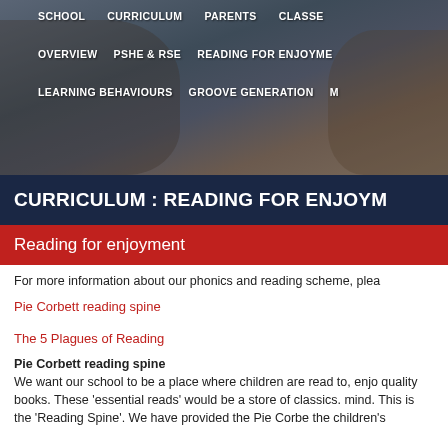SCHOOL  CURRICULUM  PARENTS  CLASSES
OVERVIEW  PSHE & RSE  READING FOR ENJOYMENT
LEARNING BEHAVIOURS  GROOVE GENERATION  M
CURRICULUM : READING FOR ENJOYMENT
Reading for enjoyment
For more information about our phonics and reading scheme, plea
Pie Corbett reading spine
The 5 Plagues of Reading
Pie Corbett reading spine
We want our school to be a place where children are read to, enjoy quality books. These 'essential reads' would be a store of classics. mind. This is the 'Reading Spine'. We have provided the Pie Corbe the children's